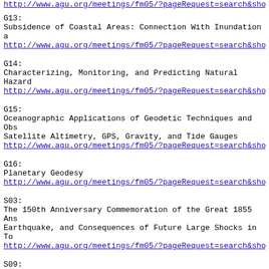http://www.agu.org/meetings/fm05/?pageRequest=search&show...
G13:
Subsidence of Coastal Areas: Connection With Inundation a...
http://www.agu.org/meetings/fm05/?pageRequest=search&show...
G14:
Characterizing, Monitoring, and Predicting Natural Hazard...
http://www.agu.org/meetings/fm05/?pageRequest=search&show...
G15:
Oceanographic Applications of Geodetic Techniques and Obs...
Satellite Altimetry, GPS, Gravity, and Tide Gauges
http://www.agu.org/meetings/fm05/?pageRequest=search&show...
G16:
Planetary Geodesy
http://www.agu.org/meetings/fm05/?pageRequest=search&show...
S03:
The 150th Anniversary Commemoration of the Great 1855 Ans...
Earthquake, and Consequences of Future Large Shocks in To...
http://www.agu.org/meetings/fm05/?pageRequest=search&show...
S09:
Earthquake Hazards Forecasting: Reality, Potential, and A...
http://www.agu.org/meetings/fm05/?pageRequest=search&show...
S11:
New Insights Into Earthquake Hazards in Cascadia
http://www.agu.org/meetings/fm05/?pageRequest=search&show...